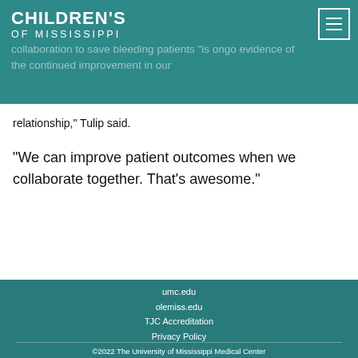CHILDREN'S OF MISSISSIPPI
collaboration to save bleeding patients "is ongoing evidence of the continued improvement in our relationship," Tulip said.
“We can improve patient outcomes when we collaborate together. That’s awesome.”
umc.edu
olemiss.edu
TJC Accreditation
Privacy Policy
Facebook
Twitter
©2022 The University of Mississippi Medical Center